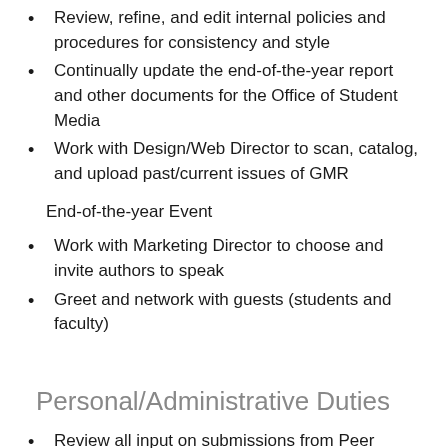Review, refine, and edit internal policies and procedures for consistency and style
Continually update the end-of-the-year report and other documents for the Office of Student Media
Work with Design/Web Director to scan, catalog, and upload past/current issues of GMR
End-of-the-year Event
Work with Marketing Director to choose and invite authors to speak
Greet and network with guests (students and faculty)
Personal/Administrative Duties
Review all input on submissions from Peer Reviewers
Attend one office hour a week and contribute to weekly meetings through attendance and valuable input